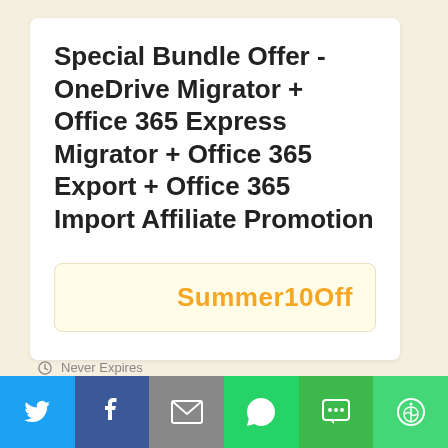Special Bundle Offer - OneDrive Migrator + Office 365 Express Migrator + Office 365 Export + Office 365 Import Affiliate Promotion
Summer10Off
Never Expires
[Figure (infographic): Social sharing bar with icons for Twitter, Facebook, Email, WhatsApp, SMS, and More]